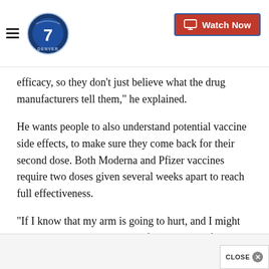Denver7 - Watch Now
efficacy, so they don’t just believe what the drug manufacturers tell them,” he explained.
He wants people to also understand potential vaccine side effects, to make sure they come back for their second dose. Both Moderna and Pfizer vaccines require two doses given several weeks apart to reach full effectiveness.
“If I know that my arm is going to hurt, and I might have a headache, and I might feel run-down for a day or two, if I know that, it’s very different than if tha